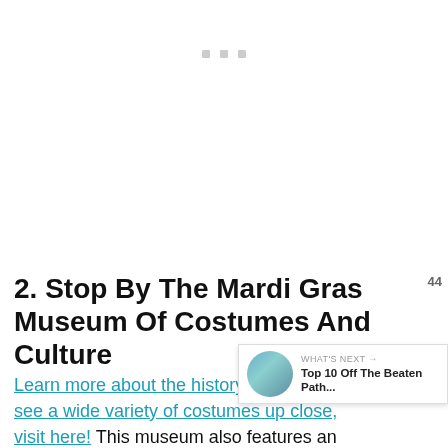[Figure (other): Ad placeholder with three small grey squares, loading indicator]
2. Stop By The Mardi Gras Museum Of Costumes And Culture
Learn more about the history of Mardi Gras and see a wide variety of costumes up close, visit here! This museum also features an
[Figure (infographic): Heart/like button (teal circle with heart icon) showing count 44, and a share button below it]
[Figure (infographic): What's Next widget: thumbnail image with label 'WHAT'S NEXT →' and title 'Top 10 Off The Beaten Path...']